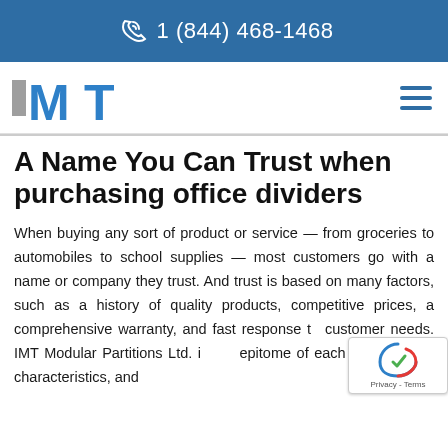1 (844) 468-1468
[Figure (logo): IMT Modular Partitions logo with blue and gray letters]
A Name You Can Trust when purchasing office dividers
When buying any sort of product or service — from groceries to automobiles to school supplies — most customers go with a name or company they trust. And trust is based on many factors, such as a history of quality products, competitive prices, a comprehensive warranty, and fast response to customer needs. IMT Modular Partitions Ltd. is the epitome of each one of these characteristics, and